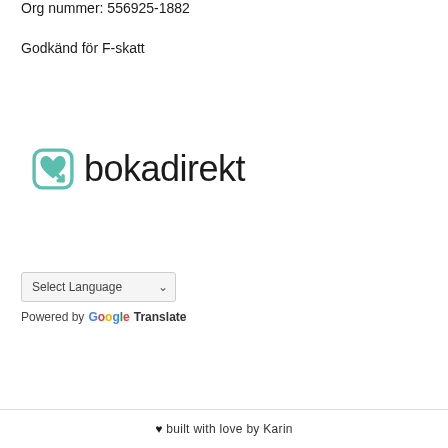Org nummer: 556925-1882
Godkänd för F-skatt
[Figure (logo): Bokadirekt logo with teal heart/arrow icon and 'bokadirekt' wordmark in dark text]
Select Language (dropdown) Powered by Google Translate
♥ built with love by Karin